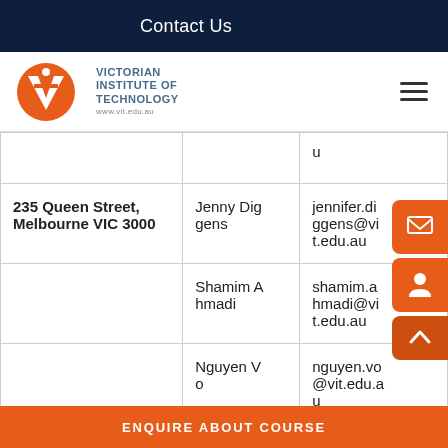Contact Us
[Figure (logo): Victorian Institute of Technology logo with orange VIT circle emblem and text]
| Address | Contact Name | Email |
| --- | --- | --- |
|  |  | u |
| 235 Queen Street, Melbourne VIC 3000 | Jenny Diggens | jennifer.diggens@vit.edu.au |
|  | Shamim Ahmadi | shamim.ahmadi@vit.edu.au |
|  | Nguyen Vo | nguyen.vo@vit.edu.au |
ENQUIRE ABOUT COURSE